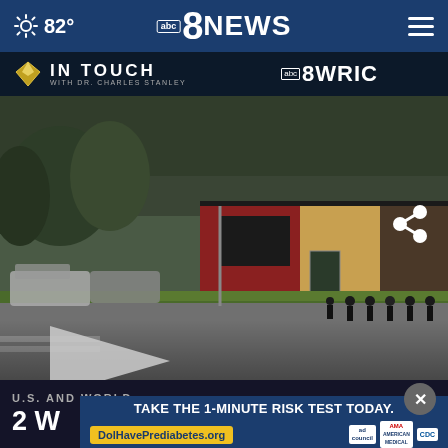82° abc 8 NEWS
[Figure (screenshot): TV banner showing 'In Touch with Dr. Charles Stanley' and 'abc 8 WRIC' logos on dark background]
[Figure (photo): Outdoor scene of a commercial building (restaurant/retail) with a parking lot, grass strip, road in foreground, several people standing near the entrance, overcast sky, grey tones]
U.S. AND WORLD
2 W... h
[Figure (screenshot): Advertisement banner: 'TAKE THE 1-MINUTE RISK TEST TODAY.' with link DolHavePrediabetes.org and logos for Ad Council, AMA, CDC]